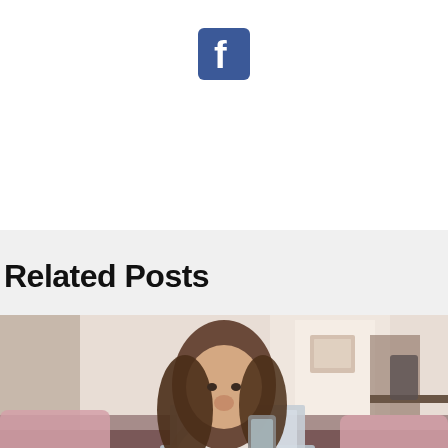[Figure (logo): Facebook logo icon — white 'f' on blue square background]
Related Posts
[Figure (photo): Young woman sitting on a couch with a laptop on her lap, holding a smartphone and looking at it with an excited expression. Pink pillows on the couch, kitchen counter visible in the background.]
10 Easy Ways to Make Money with Your Smartphone